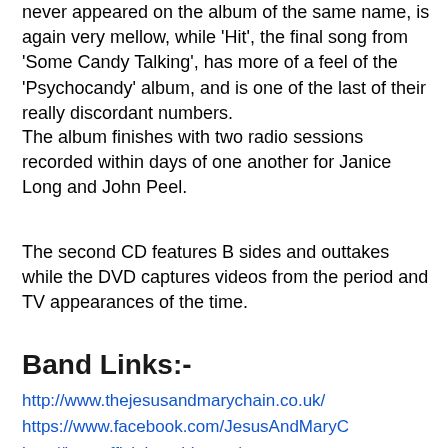never appeared on the album of the same name, is again very mellow, while 'Hit', the final song from 'Some Candy Talking', has more of a feel of the 'Psychocandy' album, and is one of the last of their really discordant numbers.
The album finishes with two radio sessions recorded within days of one another for Janice Long and John Peel.
The second CD features B sides and outtakes while the DVD captures videos from the period and TV appearances of the time.
Band Links:-
http://www.thejesusandmarychain.co.uk/
https://www.facebook.com/JesusAndMaryC
http://jamcofficial.tumblr.com/